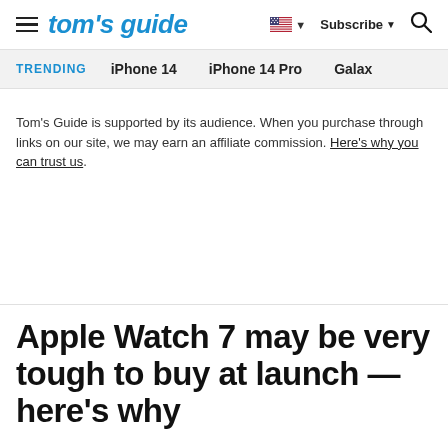tom's guide | Subscribe | Search
TRENDING   iPhone 14   iPhone 14 Pro   Galaxy
Tom's Guide is supported by its audience. When you purchase through links on our site, we may earn an affiliate commission. Here's why you can trust us.
Apple Watch 7 may be very tough to buy at launch — here's why